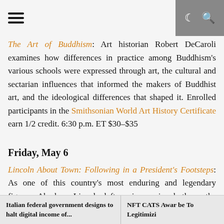≡ ☾ 🔍
The Art of Buddhism: Art historian Robert DeCaroli examines how differences in practice among Buddhism's various schools were expressed through art, the cultural and sectarian influences that informed the makers of Buddhist art, and the ideological differences that shaped it. Enrolled participants in the Smithsonian World Art History Certificate earn 1/2 credit. 6:30 p.m. ET $30–$35
Friday, May 6
Lincoln About Town: Following in a President's Footsteps: As one of this country's most enduring and legendary figures, Abraham Lincoln left an impression both on the United States and the city of Washington.
Italian federal government designs to halt digital income of... | NFT CATS Awar be To Legitimizi